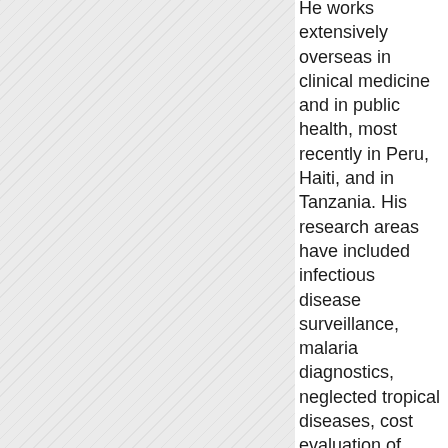[Figure (photo): Left portion of page showing a hatched/diagonal lined gray pattern, likely a photograph or image placeholder with diagonal stripe texture.]
He works extensively overseas in clinical medicine and in public health, most recently in Peru, Haiti, and in Tanzania. His research areas have included infectious disease surveillance, malaria diagnostics, neglected tropical diseases, cost evaluation of public health programs, avian influenza, ...